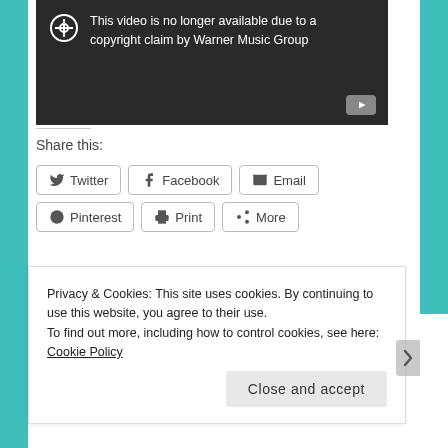[Figure (screenshot): YouTube video embed showing error: 'This video is no longer available due to a copyright claim by Warner Music Group' with a YouTube play button icon in the bottom-right corner.]
Share this:
Twitter  Facebook  Email  Pinterest  Print  More
Privacy & Cookies: This site uses cookies. By continuing to use this website, you agree to their use.
To find out more, including how to control cookies, see here: Cookie Policy
Close and accept